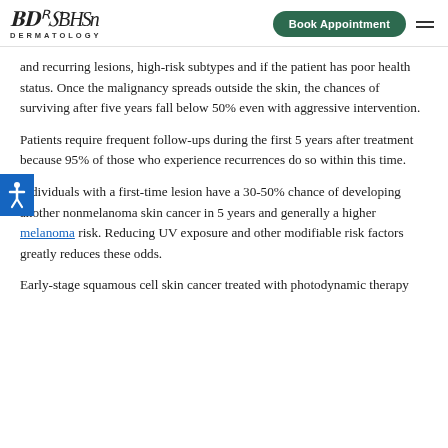BHS Dermatology — Book Appointment
and recurring lesions, high-risk subtypes and if the patient has poor health status. Once the malignancy spreads outside the skin, the chances of surviving after five years fall below 50% even with aggressive intervention.
Patients require frequent follow-ups during the first 5 years after treatment because 95% of those who experience recurrences do so within this time.
Individuals with a first-time lesion have a 30-50% chance of developing another nonmelanoma skin cancer in 5 years and generally a higher melanoma risk. Reducing UV exposure and other modifiable risk factors greatly reduces these odds.
Early-stage squamous cell skin cancer treated with photodynamic therapy